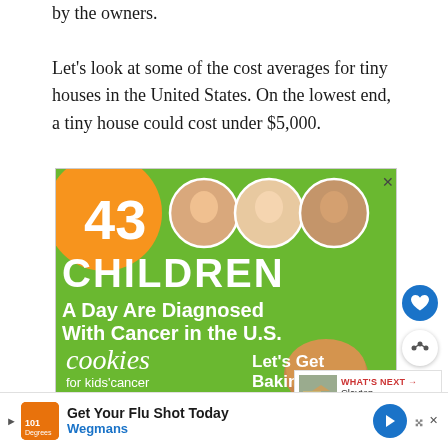by the owners.
Let’s look at some of the cost averages for tiny houses in the United States. On the lowest end, a tiny house could cost under $5,000.
[Figure (infographic): Advertisement banner showing '43 CHILDREN A Day Are Diagnosed With Cancer in the U.S.' with cookies for kids cancer charity, on a green background with orange circle and children photos]
[Figure (infographic): Bottom advertisement banner: 'Get Your Flu Shot Today - Wegmans' with navigation arrow icon]